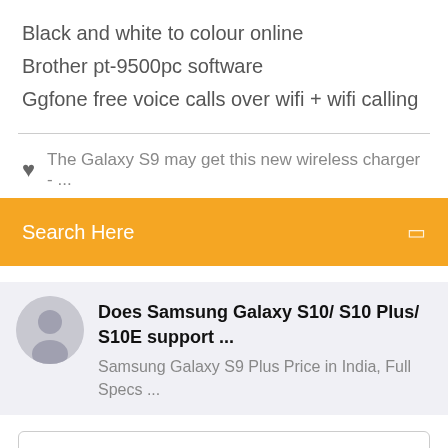Black and white to colour online
Brother pt-9500pc software
Ggfone free voice calls over wifi + wifi calling
The Galaxy S9 may get this new wireless charger - ...
Search Here
Does Samsung Galaxy S10/ S10 Plus/ S10E support ...
Samsung Galaxy S9 Plus Price in India, Full Specs ...
Search Keyword